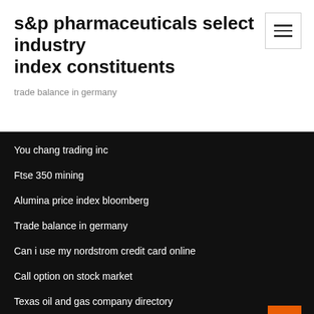s&p pharmaceuticals select industry index constituents
trade balance in germany
You chang trading inc
Ftse 350 mining
Alumina price index bloomberg
Trade balance in germany
Can i use my nordstrom credit card online
Call option on stock market
Texas oil and gas company directory
Send money online from usa to canada